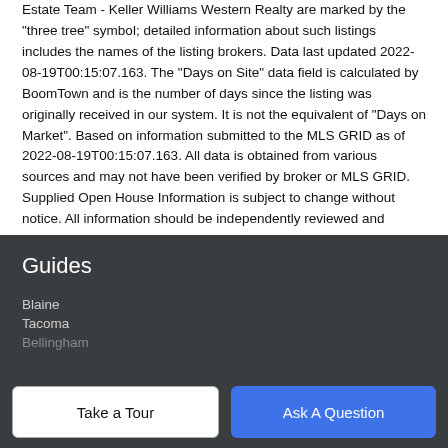Estate Team - Keller Williams Western Realty are marked by the "three tree" symbol; detailed information about such listings includes the names of the listing brokers. Data last updated 2022-08-19T00:15:07.163. The "Days on Site" data field is calculated by BoomTown and is the number of days since the listing was originally received in our system. It is not the equivalent of "Days on Market". Based on information submitted to the MLS GRID as of 2022-08-19T00:15:07.163. All data is obtained from various sources and may not have been verified by broker or MLS GRID. Supplied Open House Information is subject to change without notice. All information should be independently reviewed and verified for accuracy. Properties may or may not be listed by the office/agent presenting the information.
Guides
Blaine
Tacoma
Bellingham